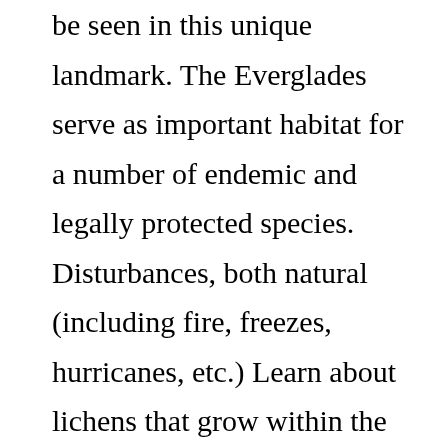be seen in this unique landmark. The Everglades serve as important habitat for a number of endemic and legally protected species. Disturbances, both natural (including fire, freezes, hurricanes, etc.) Learn about lichens that grow within the park. These plants covered half a million acres … Sloughs are the main paths of moving water through the Everglades. Melaleuca, ironically and purposely introduced by plane, to Florida, from Australia, in order to dry up the swampy Everglades, to make it more suitable for